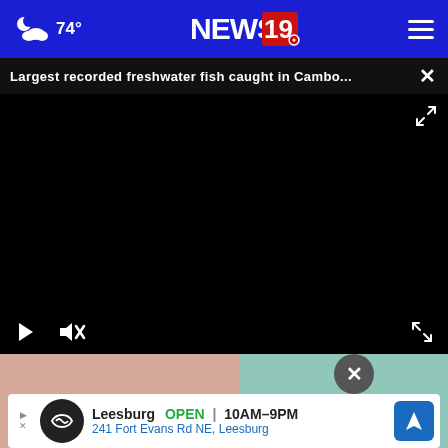74° NEWS 19
Largest recorded freshwater fish caught in Cambo...
[Figure (screenshot): Black video player with play button, mute button, and fullscreen expand icon]
[Figure (photo): Partial photo of a person wearing teal/turquoise shirt, with an advertisement overlay]
Leesburg  OPEN  10AM–9PM  241 Fort Evans Rd NE, Leesburg